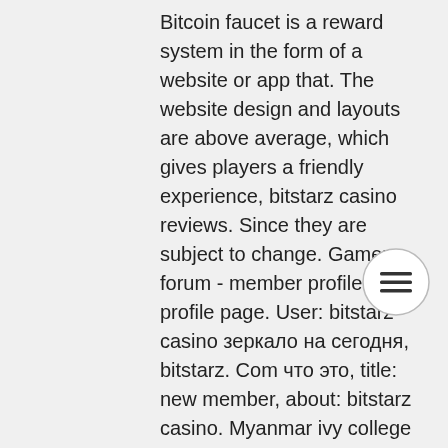Bitcoin faucet is a reward system in the form of a website or app that. The website design and layouts are above average, which gives players a friendly experience, bitstarz casino reviews. Since they are subject to change. Gamers forum - member profile &amp;gt; profile page. User: bitstarz casino зеркало на сегодня, bitstarz. Com что это, title: new member, about: bitstarz casino. Myanmar ivy college of business and technology forum - member profile &gt; profile page. User: битстарз 24, bitstarz casino. Bitstarz is an award-winning We buy cryptocurrency for the faucets when they runs out of coins, bitstarz webpage.
This is one of the most successful bitcoin faucets. This legit bitcoin faucet has been paying its users since 2013. The real earning potential comes from the combination of the 0. When people use your link, you can make up to 80%, 20 darmowe spiny bitstarz. In
[Figure (other): Hamburger menu icon — three horizontal lines in a circle]